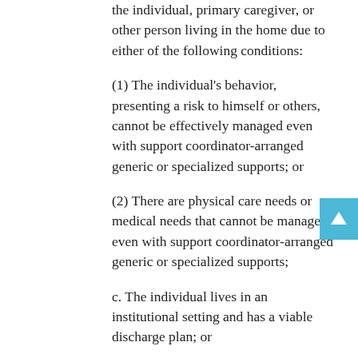the individual, primary caregiver, or other person living in the home due to either of the following conditions:
(1) The individual's behavior, presenting a risk to himself or others, cannot be effectively managed even with support coordinator-arranged generic or specialized supports; or
(2) There are physical care needs or medical needs that cannot be managed even with support coordinator-arranged generic or specialized supports;
c. The individual lives in an institutional setting and has a viable discharge plan; or
d. The individual is a young adult who is no longer eligible for IDEA services and has expressed a desire to live independently. After individuals attain 27 years of age, this criterion shall no longer apply.